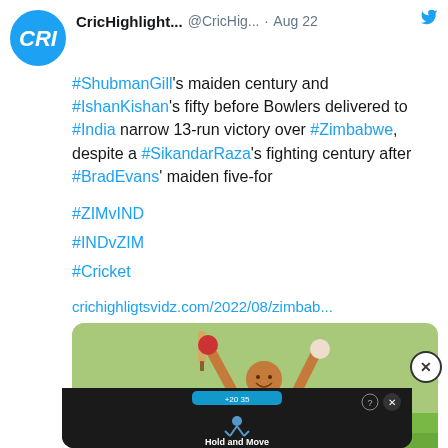CricHighlight... @CricHig... · Aug 22
#ShubmanGill's maiden century and #IshanKishan's fifty before Bowlers delivered to #India narrow 13-run victory over #Zimbabwe, despite a #SikandarRaza's fighting century after #BradEvans' maiden five-for
#ZIMvIND
#INDvZIM
#Cricket
crichighligtsvidz.com/2022/08/zimbab...
[Figure (photo): Cricket player in India blue jersey celebrating with arms raised holding bat]
[Figure (screenshot): Ad overlay showing Hold and Move interface with close buttons]